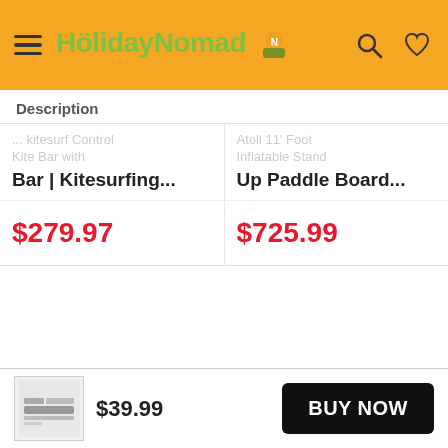HolidayNomad (header with navigation icons)
Description
Bar | Kitesurfing...
$279.97
Inflatable Stand Up Paddle Board...
$725.99
$39.99
BUY NOW